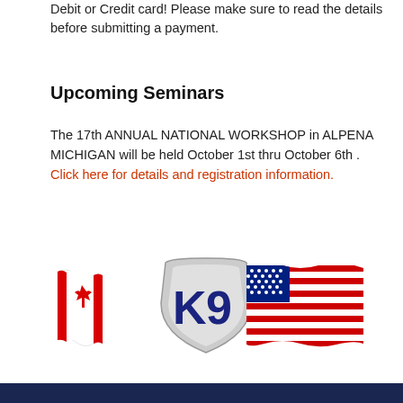Debit or Credit card! Please make sure to read the details before submitting a payment.
Upcoming Seminars
The 17th ANNUAL NATIONAL WORKSHOP in ALPENA MICHIGAN will be held October 1st thru October 6th . Click here for details and registration information.
[Figure (logo): K9 logo with Canadian flag on the left and American flag on the right]